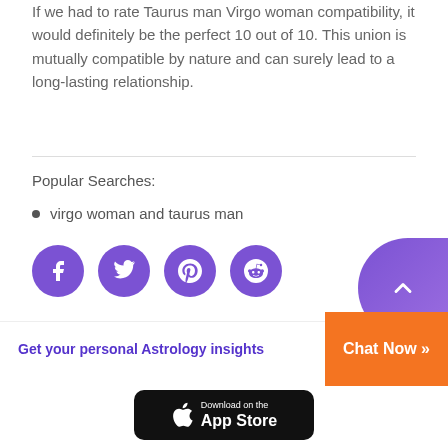If we had to rate Taurus man Virgo woman compatibility, it would definitely be the perfect 10 out of 10. This union is mutually compatible by nature and can surely lead to a long-lasting relationship.
Popular Searches:
virgo woman and taurus man
[Figure (other): Social share buttons: Facebook, Twitter, Pinterest, Reddit (purple circles), and a scroll-to-top button (purple rounded shape on right)]
Get your personal Astrology insights  Chat Now »
[Figure (other): Download on the App Store button (black rounded rectangle with Apple logo)]